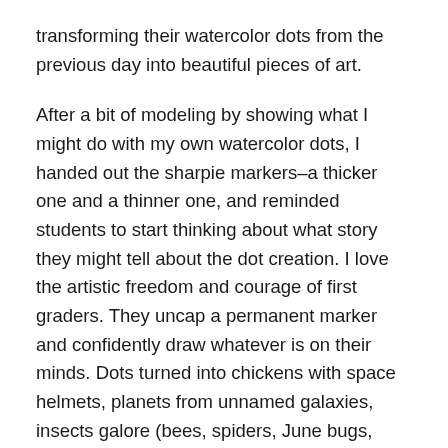transforming their watercolor dots from the previous day into beautiful pieces of art.
After a bit of modeling by showing what I might do with my own watercolor dots, I handed out the sharpie markers–a thicker one and a thinner one, and reminded students to start thinking about what story they might tell about the dot creation. I love the artistic freedom and courage of first graders. They uncap a permanent marker and confidently draw whatever is on their minds. Dots turned into chickens with space helmets, planets from unnamed galaxies, insects galore (bees, spiders, June bugs, ladybugs…), jellyfish, dragons, and of course, lots and lots of flowers. Along with the drawing was the buzz of conversation, telling the story of the things they were drawing. Clearly kids need to talk their ideas through as they draw.